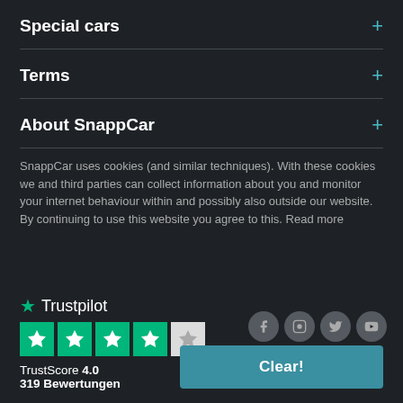Special cars
Terms
About SnappCar
SnappCar uses cookies (and similar techniques). With these cookies we and third parties can collect information about you and monitor your internet behaviour within and possibly also outside our website. By continuing to use this website you agree to this. Read more
[Figure (logo): Trustpilot logo with green star and wordmark]
[Figure (other): Trustpilot 4 star rating boxes (4 green, 1 grey half star)]
TrustScore 4.0
319 Bewertungen
Copyright © SnappCar 2022
Clear!